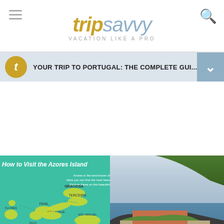tripsavvy — VACATION LIKE A PRO
YOUR TRIP TO PORTUGAL: THE COMPLETE GUI...
[Figure (map): Illustrated map of the Azores Islands in teal/green showing island locations with labels including Graciosa, Faial, São Jorge, Pico, Flores, Santa Maria. Title: How to Visit the Azores Islands. Labeled ITINERARIES.]
[Figure (photo): Aerial photo of a coastal Portuguese fortress/fort on rocky cliffs with green hillside and sea. Labeled THINGS TO DO.]
The Top 10 Things to...
Ad
KENI KUJDES  VAGIN AMB COMPTE  DBEJTE NA SVOU BEZPEČNOST  নিরাপদ থাকুন  BE SAFE  AVEȚI GRIJĂ  PAS GODT PÅ  WEES VOORZICHTIG  TOIMIGE OHUTULT  CUÍDESE